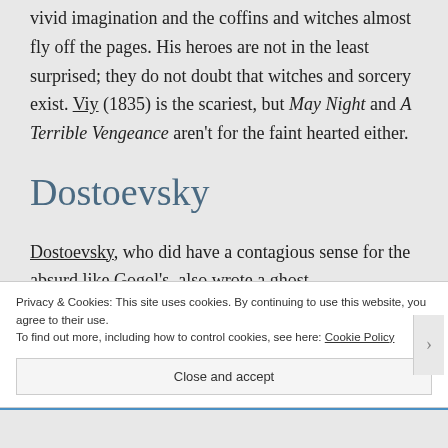vivid imagination and the coffins and witches almost fly off the pages. His heroes are not in the least surprised; they do not doubt that witches and sorcery exist. Viy (1835) is the scariest, but May Night and A Terrible Vengeance aren't for the faint hearted either.
Dostoevsky
Dostoevsky, who did have a contagious sense for the absurd like Gogol's, also wrote a ghost
Privacy & Cookies: This site uses cookies. By continuing to use this website, you agree to their use.
To find out more, including how to control cookies, see here: Cookie Policy
Close and accept